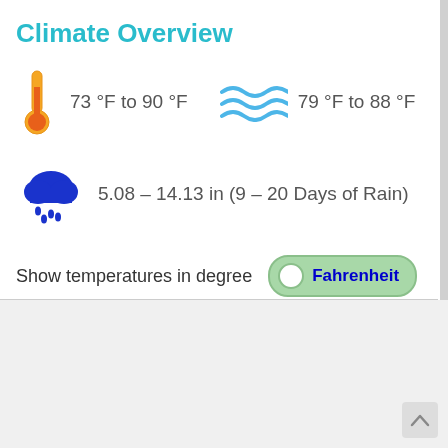Climate Overview
73 °F to 90 °F
79 °F to 88 °F
5.08 – 14.13 in (9 – 20 Days of Rain)
Show temperatures in degree Fahrenheit